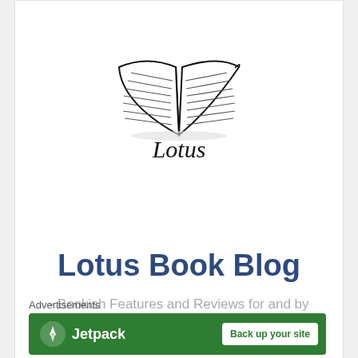[Figure (logo): Open book sketch illustration with 'Lotus' written in cursive script below]
Lotus Book Blog
- Bookish Features and Reviews for and by South African book lovers -
[Figure (infographic): Row of 5 dark blue circular social media icon buttons: link, Facebook, Instagram, Pinterest, Twitter]
Advertisements
[Figure (screenshot): Jetpack advertisement banner on green background with 'Back up your site' button]